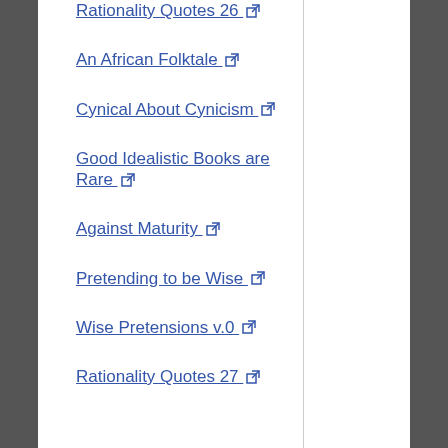Rationality Quotes 26 🔗
An African Folktale 🔗
Cynical About Cynicism 🔗
Good Idealistic Books are Rare 🔗
Against Maturity 🔗
Pretending to be Wise 🔗
Wise Pretensions v.0 🔗
Rationality Quotes 27 🔗